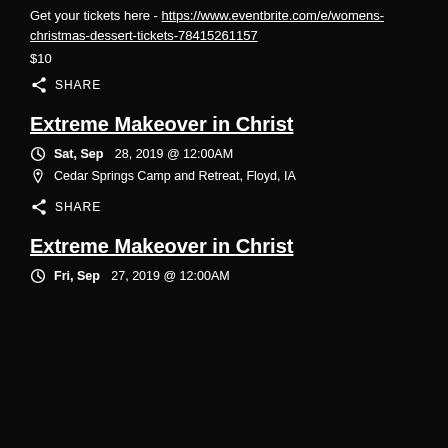Get your tickets here - https://www.eventbrite.com/e/womens-christmas-dessert-tickets-78415261157
$10
SHARE
Extreme Makeover in Christ
Sat, Sep 28, 2019 @ 12:00AM
Cedar Springs Camp and Retreat, Floyd, IA
SHARE
Extreme Makeover in Christ
Fri, Sep 27, 2019 @ 12:00AM